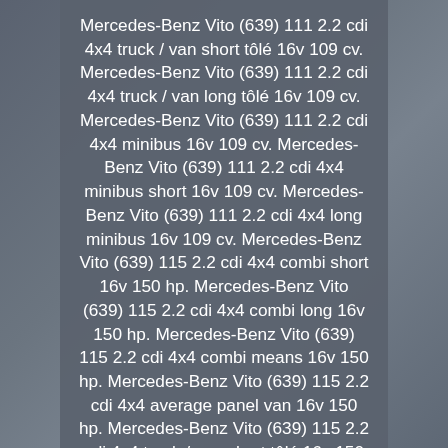Mercedes-Benz Vito (639) 111 2.2 cdi 4x4 truck / van short tôlé 16v 109 cv. Mercedes-Benz Vito (639) 111 2.2 cdi 4x4 truck / van long tôlé 16v 109 cv. Mercedes-Benz Vito (639) 111 2.2 cdi 4x4 minibus 16v 109 cv. Mercedes-Benz Vito (639) 111 2.2 cdi 4x4 minibus short 16v 109 cv. Mercedes-Benz Vito (639) 111 2.2 cdi 4x4 long minibus 16v 109 cv. Mercedes-Benz Vito (639) 115 2.2 cdi 4x4 combi short 16v 150 hp. Mercedes-Benz Vito (639) 115 2.2 cdi 4x4 combi long 16v 150 hp. Mercedes-Benz Vito (639) 115 2.2 cdi 4x4 combi means 16v 150 hp. Mercedes-Benz Vito (639) 115 2.2 cdi 4x4 average panel van 16v 150 hp. Mercedes-Benz Vito (639) 115 2.2 cdi 4x4 truck / van short tôlé 16v 150 hp. Mercedes-Benz Vito (639) 115 2.2 cdi 4x4 truck / van long tôlé 16v 150 hp.
Mercedes-benz vito (639) 115 2.2 TDCI 4x4 minibus 16v 150 hp. Mercedes-Benz Vito (639) 115 2.2 cdi 4x4 minibus short 16v 150 hp.